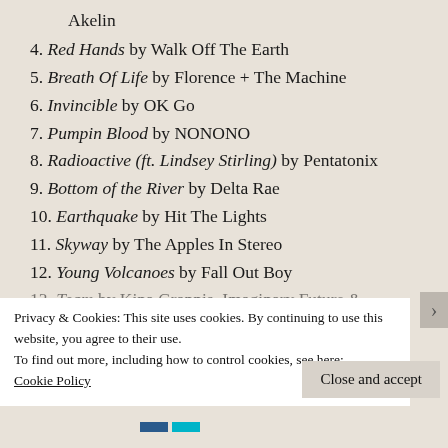Akelin
4. Red Hands by Walk Off The Earth
5. Breath Of Life by Florence + The Machine
6. Invincible by OK Go
7. Pumpin Blood by NONONO
8. Radioactive (ft. Lindsey Stirling) by Pentatonix
9. Bottom of the River by Delta Rae
10. Earthquake by Hit The Lights
11. Skyway by The Apples In Stereo
12. Young Volcanoes by Fall Out Boy
13. Team by Kina Grannis, Imaginary Future &
Privacy & Cookies: This site uses cookies. By continuing to use this website, you agree to their use.
To find out more, including how to control cookies, see here:
Cookie Policy
Close and accept